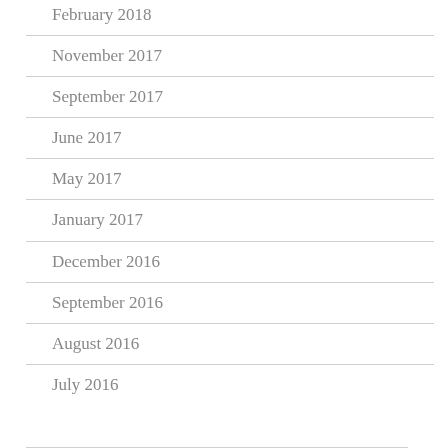February 2018
November 2017
September 2017
June 2017
May 2017
January 2017
December 2016
September 2016
August 2016
July 2016